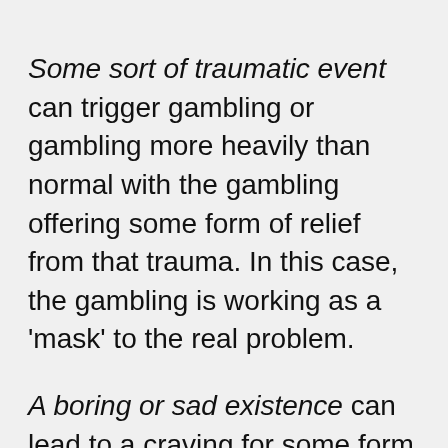Some sort of traumatic event can trigger gambling or gambling more heavily than normal with the gambling offering some form of relief from that trauma. In this case, the gambling is working as a 'mask' to the real problem.
A boring or sad existence can lead to a craving for some form of excitement which gambling does afford but can often tie in with the earlier lack of understanding of the real chances of